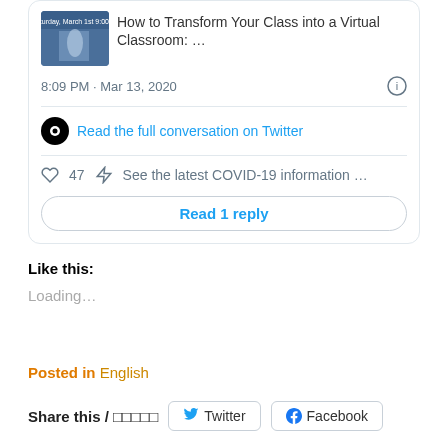[Figure (screenshot): Twitter/social media embed card showing a link to 'How to Transform Your Class into a Virtual Classroom: ...' with a thumbnail image, timestamp '8:09 PM · Mar 13, 2020', a link 'Read the full conversation on Twitter', heart icon with 47 likes, lightning bolt with COVID-19 info notice, and a 'Read 1 reply' button.]
Like this:
Loading...
Posted in English
Share this / □□□□□